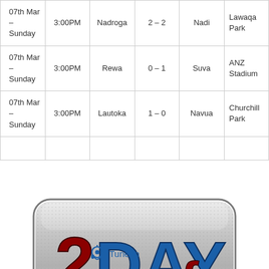| Date | Time | Home | Score | Away | Venue |
| --- | --- | --- | --- | --- | --- |
| 07th Mar – Sunday | 3:00PM | Nadroga | 2 – 2 | Nadi | Lawaqa Park |
| 07th Mar – Sunday | 3:00PM | Rewa | 0 – 1 | Suva | ANZ Stadium |
| 07th Mar – Sunday | 3:00PM | Lautoka | 1 – 0 | Navua | Churchill Park |
|  |  |  |  |  |  |
[Figure (logo): 2DAY fm radio station logo — metallic silver rounded rectangle background with red and blue 3D text reading '2DAY fm']
[Figure (logo): Tune In icon and text link in blue]